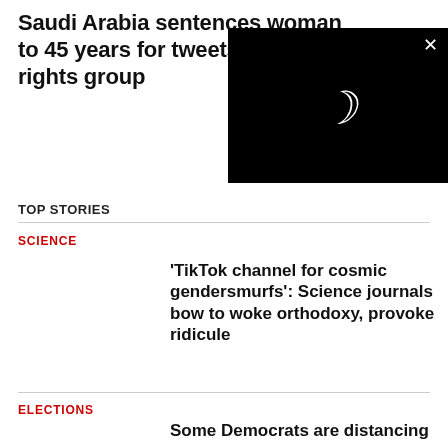Saudi Arabia sentences woman to 45 years for tweets: human rights group
[Figure (screenshot): Black video player overlay with white crescent/loading symbol and X close button in top right]
TOP STORIES
SCIENCE
'TikTok channel for cosmic gendersmurfs': Science journals bow to woke orthodoxy, provoke ridicule
ELECTIONS
Some Democrats are distancing